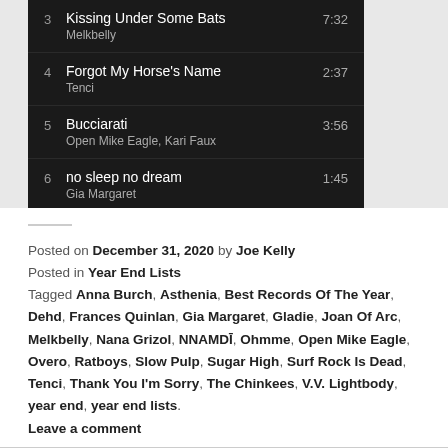[Figure (screenshot): Partial music playlist screenshot on dark background showing tracks 3-6: Kissing Under Some Bats by Melkbelly (7:32), Forgot My Horse's Name by Tenci (2:37), Bucciarati by Open Mike Eagle, Kari Faux (3:56), no sleep no dream by Gia Margaret (1:45)]
Posted on December 31, 2020 by Joe Kelly
Posted in Year End Lists
Tagged Anna Burch, Asthenia, Best Records Of The Year, Dehd, Frances Quinlan, Gia Margaret, Gladie, Joan Of Arc, Melkbelly, Nana Grizol, NNAMDĪ, Ohmme, Open Mike Eagle, Overo, Ratboys, Slow Pulp, Sugar High, Surf Rock Is Dead, Tenci, Thank You I'm Sorry, The Chinkees, V.V. Lightbody, year end, year end lists.
Leave a comment